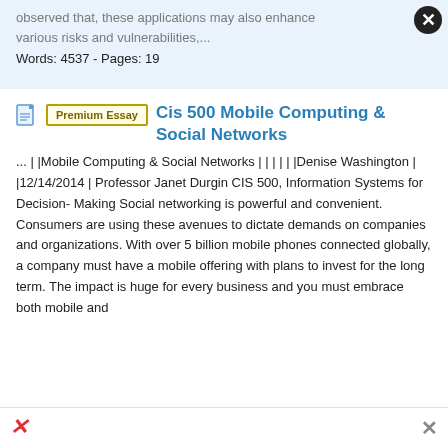observed that, these applications may also enhance various risks and vulnerabilities,...
Words: 4537 - Pages: 19
Cis 500 Mobile Computing & Social Networks
... | |Mobile Computing & Social Networks | | | | | |Denise Washington | |12/14/2014 | Professor Janet Durgin CIS 500, Information Systems for Decision-Making Social networking is powerful and convenient. Consumers are using these avenues to dictate demands on companies and organizations. With over 5 billion mobile phones connected globally, a company must have a mobile offering with plans to invest for the long term. The impact is huge for every business and you must embrace both mobile and